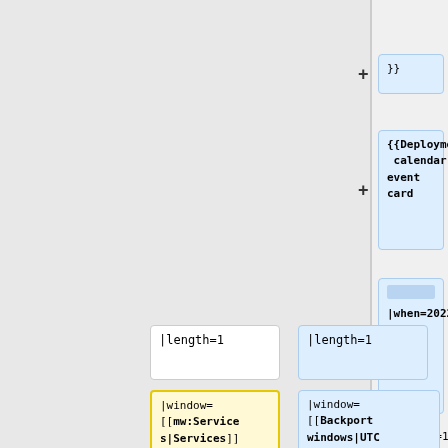[Figure (screenshot): Diff/comparison view of wiki template code showing added lines with blue highlights. Top right shows '}}' added line, then '{{Deployment calendar event card' added block, then '|when=2022-08-30 13:00 SF' added block, then two side-by-side rows: '|length=1' boxes (white/blue), then '|window=[[mw:Services|Services]] - [[mw:Extension:Graph|Graphoid]]/' (yellow) vs '|window=[[Backport windows|UTC late backport window]] <br/>' (blue).]